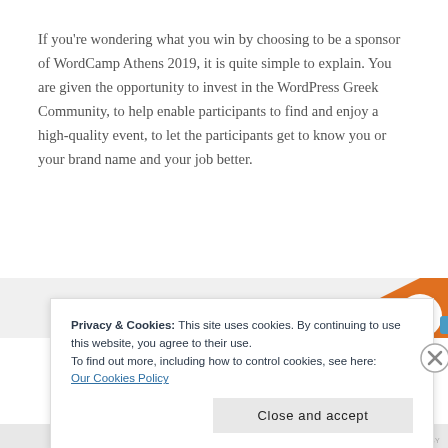If you're wondering what you win by choosing to be a sponsor of WordCamp Athens 2019, it is quite simple to explain. You are given the opportunity to invest in the WordPress Greek Community, to help enable participants to find and enjoy a high-quality event, to let the participants get to know you or your brand name and your job better.
[Figure (illustration): Partial view of a WordCamp Athens decorative graphic with orange and blue shapes visible at the top of the cookie banner area.]
Privacy & Cookies: This site uses cookies. By continuing to use this website, you agree to their use.
To find out more, including how to control cookies, see here:
Our Cookies Policy
Close and accept